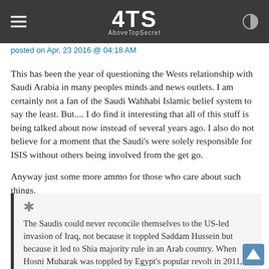ATS AboveTopSecret
posted on Apr, 23 2016 @ 04:18 AM
This has been the year of questioning the Wests relationship with Saudi Arabia in many peoples minds and news outlets. I am certainly not a fan of the Saudi Wahhabi Islamic belief system to say the least. But.... I do find it interesting that all of this stuff is being talked about now instead of several years ago. I also do not believe for a moment that the Saudi's were solely responsible for ISIS without others being involved from the get go.

Anyway just some more ammo for those who care about such things.
The Saudis could never reconcile themselves to the US-led invasion of Iraq, not because it toppled Saddam Hussein but because it led to Shia majority rule in an Arab country. When Hosni Mubarak was toppled by Egypt's popular revolt in 2011, Riyadh accused Mr